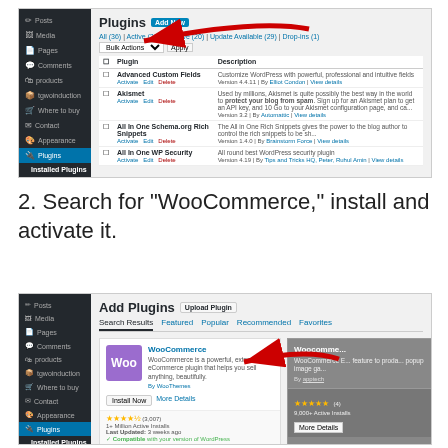[Figure (screenshot): WordPress admin Plugins page showing Installed Plugins list with Add New button highlighted by a red arrow. Plugins shown include Advanced Custom Fields, Akismet, All In One Schema.org Rich Snippets, and All In One WP Security.]
2. Search for "WooCommerce," install and activate it.
[Figure (screenshot): WordPress Add Plugins page showing Search Results tab with WooCommerce plugin card featuring Install Now button highlighted by a red arrow. WooCommerce is described as a powerful, extendable eCommerce plugin. Rated 4.5 stars with 3,007 ratings, 1+ Million Active Installs, Compatible with your version of WordPress.]